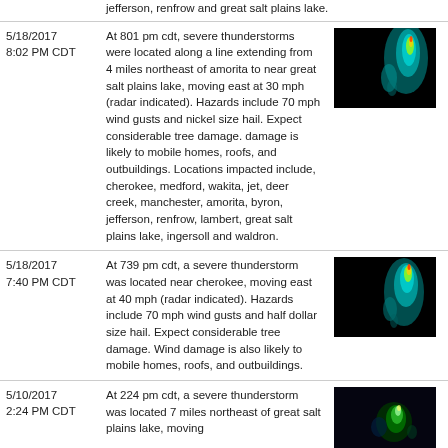jefferson, renfrow and great salt plains lake.
| Date/Time | Description | Image |
| --- | --- | --- |
| 5/18/2017 8:02 PM CDT | At 801 pm cdt, severe thunderstorms were located along a line extending from 4 miles northeast of amorita to near great salt plains lake, moving east at 30 mph (radar indicated). Hazards include 70 mph wind gusts and nickel size hail. Expect considerable tree damage. damage is likely to mobile homes, roofs, and outbuildings. Locations impacted include, cherokee, medford, wakita, jet, deer creek, manchester, amorita, byron, jefferson, renfrow, lambert, great salt plains lake, ingersoll and waldron. | [radar image] |
| 5/18/2017 7:40 PM CDT | At 739 pm cdt, a severe thunderstorm was located near cherokee, moving east at 40 mph (radar indicated). Hazards include 70 mph wind gusts and half dollar size hail. Expect considerable tree damage. Wind damage is also likely to mobile homes, roofs, and outbuildings. | [radar image] |
| 5/10/2017 2:24 PM CDT | At 224 pm cdt, a severe thunderstorm was located 7 miles northeast of great salt plains lake, moving | [radar image] |